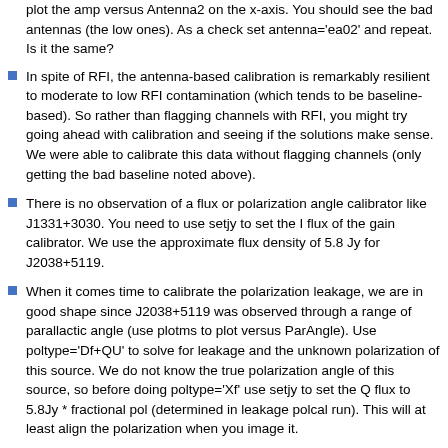plot the amp versus Antenna2 on the x-axis. You should see the bad antennas (the low ones). As a check set antenna='ea02' and repeat. Is it the same?
In spite of RFI, the antenna-based calibration is remarkably resilient to moderate to low RFI contamination (which tends to be baseline-based). So rather than flagging channels with RFI, you might try going ahead with calibration and seeing if the solutions make sense. We were able to calibrate this data without flagging channels (only getting the bad baseline noted above).
There is no observation of a flux or polarization angle calibrator like J1331+3030. You need to use setjy to set the I flux of the gain calibrator. We use the approximate flux density of 5.8 Jy for J2038+5119.
When it comes time to calibrate the polarization leakage, we are in good shape since J2038+5119 was observed through a range of parallactic angle (use plotms to plot versus ParAngle). Use poltype='Df+QU' to solve for leakage and the unknown polarization of this source. We do not know the true polarization angle of this source, so before doing poltype='Xf' use setjy to set the Q flux to 5.8Jy * fractional pol (determined in leakage polcal run). This will at least align the polarization when you image it.
The L-band field of view is much larger than at C-band. From the EVLA Observation Status Summary the resolution should be around 45" in